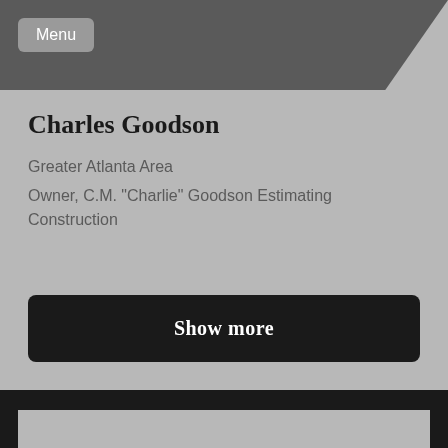[Figure (screenshot): Profile image area - dark gray trapezoid shape at top of card]
Menu
Charles Goodson
Greater Atlanta Area
Owner, C.M. "Charlie" Goodson Estimating Construction
Show more
[Figure (other): Bottom card section - light gray area partially visible at bottom of page]